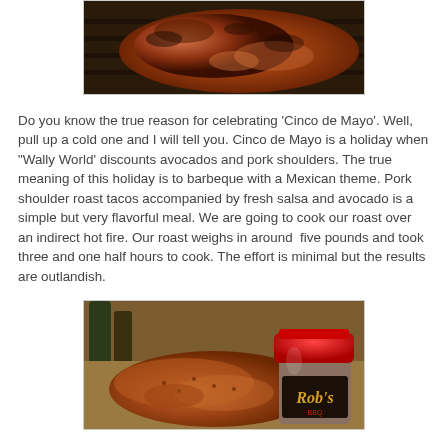[Figure (photo): Grilled pork shoulder/meat on a grill rack, showing charred exterior with reddish-orange coloring]
Do you know the true reason for celebrating 'Cinco de Mayo'. Well, pull up a cold one and I will tell you. Cinco de Mayo is a holiday when "Wally World' discounts avocados and pork shoulders. The true meaning of this holiday is to barbeque with a Mexican theme. Pork shoulder roast tacos accompanied by fresh salsa and avocado is a simple but very flavorful meal. We are going to cook our roast over an indirect hot fire. Our roast weighs in around  five pounds and took three and one half hours to cook. The effort is minimal but the results are outlandish.
[Figure (photo): Raw pork shoulder roast with rub seasoning, next to a red-capped spice jar labeled Rob's]